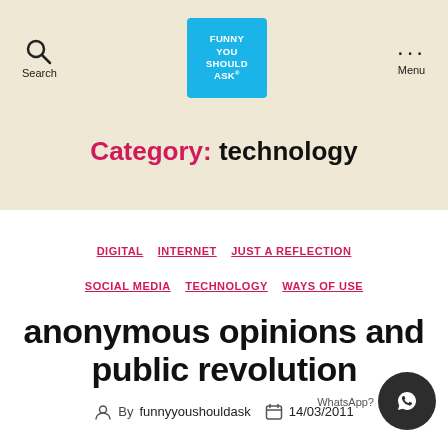[Figure (logo): Funny You Should Ask logo — blue square with white bold text reading FUNNY YOU SHOULD ASK]
Category: technology
DIGITAL  INTERNET  JUST A REFLECTION  SOCIAL MEDIA  TECHNOLOGY  WAYS OF USE
anonymous opinions and public revolution
By funnyyoushouldask   14/03/2011